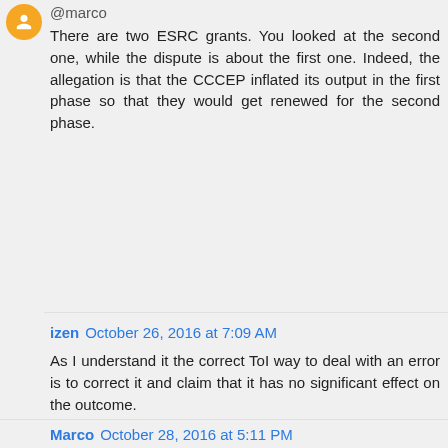@marco
There are two ESRC grants. You looked at the second one, while the dispute is about the first one. Indeed, the allegation is that the CCCEP inflated its output in the first phase so that they would get renewed for the second phase.
izen  October 26, 2016 at 7:09 AM
As I understand it the correct ToI way to deal with an error is to correct it and claim that it has no significant effect on the outcome.
If gremlins inflated the CCEP output by a few percent, but the funding agencies confirm this had no effect on their decision then it is a non-issue
Of course these days funding in Euros from Dublin might be a better bet than Pounds in Brighton.
Marco  October 28, 2016 at 5:11 PM